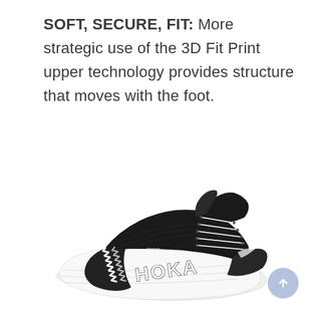SOFT, SECURE, FIT: More strategic use of the 3D Fit Print upper technology provides structure that moves with the foot.
[Figure (photo): A black and white HOKA running shoe (Rincon model) photographed from a side-angled perspective, showing the thick white midsole with HOKA branding, black mesh upper with laces, and white zigzag pattern on the side. The shoe appears to be floating slightly above a faint reflection.]